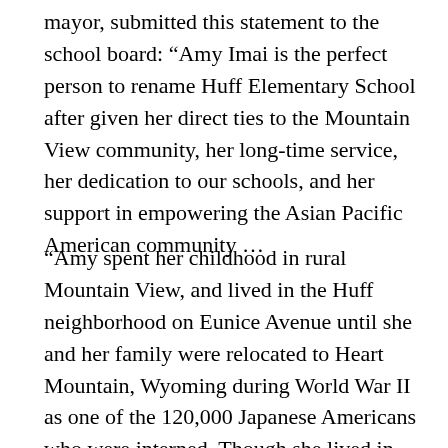mayor, submitted this statement to the school board: “Amy Imai is the perfect person to rename Huff Elementary School after given her direct ties to the Mountain View community, her long-time service, her dedication to our schools, and her support in empowering the Asian Pacific American community …
“Amy spent her childhood in rural Mountain View, and lived in the Huff neighborhood on Eunice Avenue until she and her family were relocated to Heart Mountain, Wyoming during World War II as one of the 120,000 Japanese Americans who were interned. Though she lived in Sunnyvale